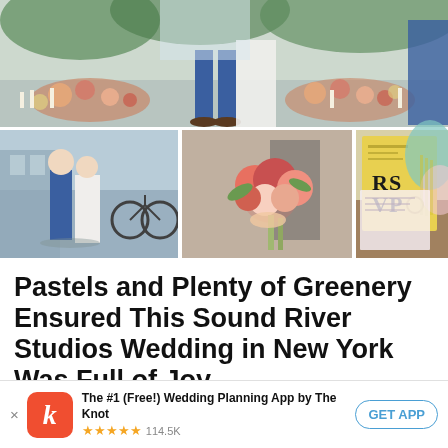[Figure (photo): Wedding photo collage: top row shows couple at altar with floral arrangements on floor; bottom left shows couple walking outside in blue suit and white dress; bottom center shows bridal bouquet close-up with red and pastel flowers; bottom right shows yellow RSVP card with teal and pink shapes]
Pastels and Plenty of Greenery Ensured This Sound River Studios Wedding in New York Was Full of Joy
The #1 (Free!) Wedding Planning App by The Knot ★★★★★ 114.5K  GET APP